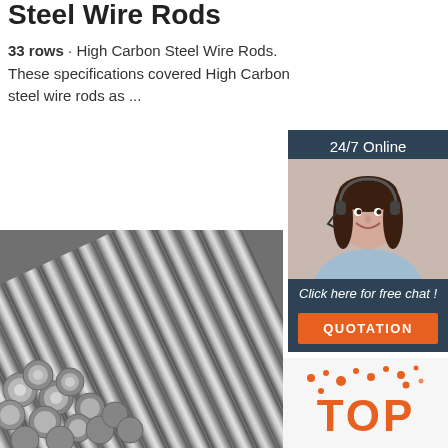Steel Wire Rods
33 rows · High Carbon Steel Wire Rods. These specifications covered High Carbon steel wire rods as ...
Get Price
[Figure (photo): Photo of a woman with a headset smiling, with '24/7 Online' text above and 'Click here for free chat!' and 'QUOTATION' button below, on a dark blue-grey background sidebar]
[Figure (photo): Close-up photo of bundled steel wire rods showing circular cross-sections with metallic silver color]
[Figure (logo): TOP badge/logo with orange dots pattern in bottom right corner]